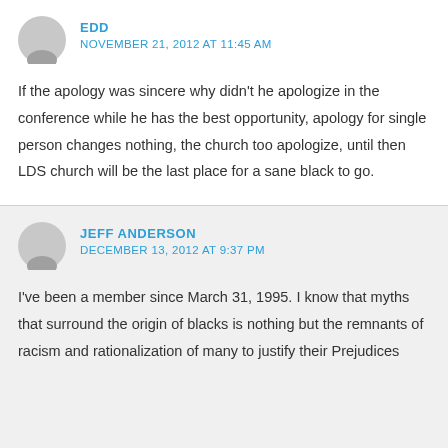EDD
NOVEMBER 21, 2012 AT 11:45 AM
If the apology was sincere why didn't he apologize in the conference while he has the best opportunity, apology for single person changes nothing, the church too apologize, until then LDS church will be the last place for a sane black to go.
JEFF ANDERSON
DECEMBER 13, 2012 AT 9:37 PM
I've been a member since March 31, 1995. I know that myths that surround the origin of blacks is nothing but the remnants of racism and rationalization of many to justify their Prejudices